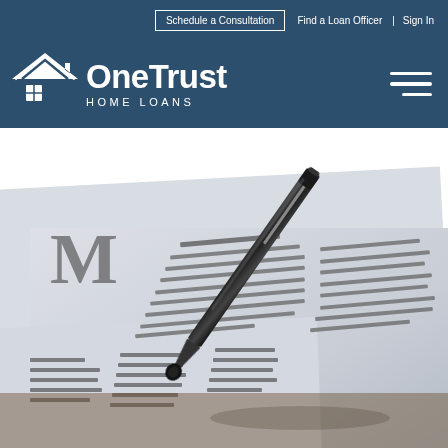Schedule a Consultation  Find a Loan Officer  | Sign In
[Figure (logo): OneTrust Home Loans logo with house/roof icon on dark blue background, with hamburger menu icon on right]
[Figure (photo): Close-up photo of legal/mortgage documents with printed text and a black pen resting on top, on a wooden surface background]